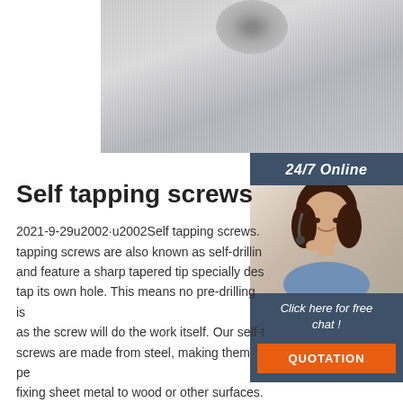[Figure (photo): Close-up photo of metallic surface with vertical striations and a rounded object, likely screws or metal hardware]
[Figure (photo): Customer service representative, woman with headset smiling, sidebar photo with '24/7 Online' header, 'Click here for free chat!' text, and orange QUOTATION button]
Self tapping screws
2021-9-29u2002·u2002Self tapping screws. tapping screws are also known as self-drilling and feature a sharp tapered tip specially des tap its own hole. This means no pre-drilling is as the screw will do the work itself. Our self-t screws are made from steel, making them pe fixing sheet metal to wood or other surfaces.
Get Price